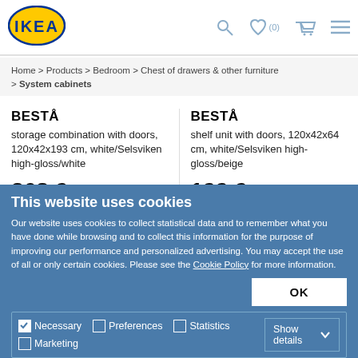[Figure (logo): IKEA logo - yellow oval with blue text IKEA]
Search | Wishlist (0) | Cart | Menu
Home > Products > Bedroom > Chest of drawers & other furniture > System cabinets
BESTÅ
storage combination with doors, 120x42x193 cm, white/Selsviken high-gloss/white
368 €
BESTÅ
shelf unit with doors, 120x42x64 cm, white/Selsviken high-gloss/beige
122 €
This website uses cookies
Our website uses cookies to collect statistical data and to remember what you have done while browsing and to collect this information for the purpose of improving our performance and personalized advertising. You may accept the use of all or only certain cookies. Please see the Cookie Policy for more information.
OK
Necessary (checked), Preferences, Statistics, Marketing — Show details